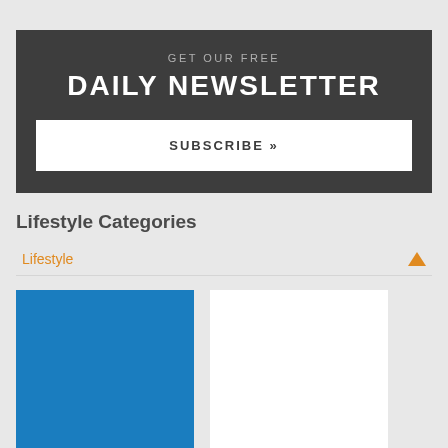GET OUR FREE
DAILY NEWSLETTER
SUBSCRIBE »
Lifestyle Categories
Lifestyle
[Figure (photo): Partial view of two content blocks: a blue rectangle on the left and a white rectangle on the right, appearing to be image placeholders for article thumbnails]